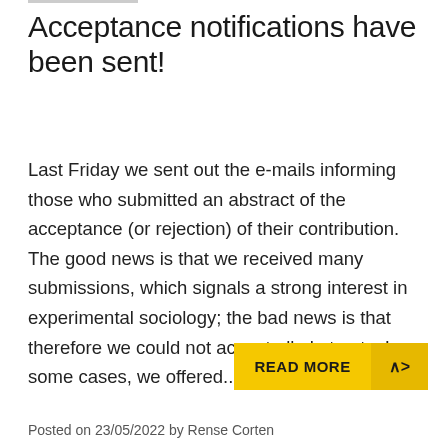Acceptance notifications have been sent!
Last Friday we sent out the e-mails informing those who submitted an abstract of the acceptance (or rejection) of their contribution. The good news is that we received many submissions, which signals a strong interest in experimental sociology; the bad news is that therefore we could not accept all abstracts. In some cases, we offered...
READ MORE
Posted on 23/05/2022 by Rense Corten